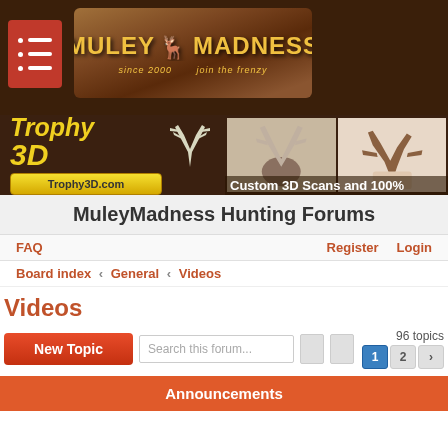[Figure (logo): MuleyMadness website header with dark brown background, red hamburger menu icon, and MuleyMadness logo with deer graphic on wood-textured sign. Tagline: 'since 2000 - join the frenzy']
[Figure (infographic): Trophy3D advertisement banner showing yellow 'Trophy 3D' text with deer antler graphic, Trophy3D.com button, photos of 3D-scanned deer antlers, and text 'Custom 3D Scans and 100%']
MuleyMadness Hunting Forums
FAQ    Register    Login
Board index › General › Videos
Videos
New Topic    Search this forum...    96 topics    1  2
Announcements